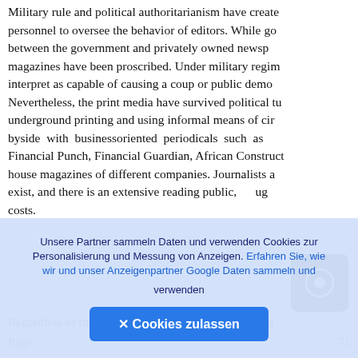Military rule and political authoritarianism have created personnel to oversee the behavior of editors. While go between the government and privately owned newsp magazines have been proscribed. Under military regim interpret as capable of causing a coup or public demo Nevertheless, the print media have survived political tu underground printing and using informal means of cir byside with businessoriented periodicals such as Financial Punch, Financial Guardian, African Construct house magazines of different companies. Journalists a exist, and there is an extensive reading public, ug costs.
Regardless of the occasional troubles, the print media
Page 71
[Figure (other): Dark rounded square icon button with a circular play/record symbol]